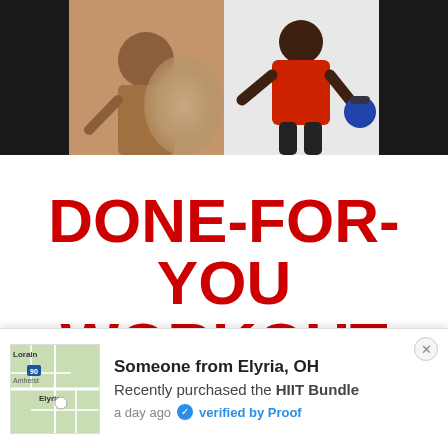[Figure (photo): Dark background with fitness promotional banner showing two people exercising — left side shows someone doing an exercise in warm tones, right side shows a muscular man in red sleeveless shirt holding a blue kettlebell]
DONE-FOR-YOU WORKOUT RESOURCES
Someone from Elyria, OH
Recently purchased the HIIT Bundle
a day ago  verified by Proof